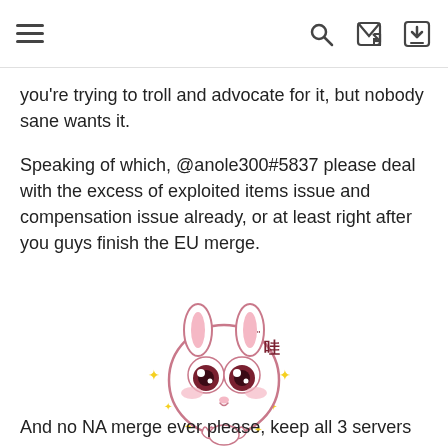[hamburger menu] [search icon] [login icon]
you're trying to troll and advocate for it, but nobody sane wants it.
Speaking of which, @anole300#5837 please deal with the excess of exploited items issue and compensation issue already, or at least right after you guys finish the EU merge.
[Figure (illustration): Cute cartoon bunny emoji with large sparkly eyes, praying hands gesture, and Chinese character '哇' (wow), surrounded by small yellow sparkle stars]
And no NA merge ever please, keep all 3 servers